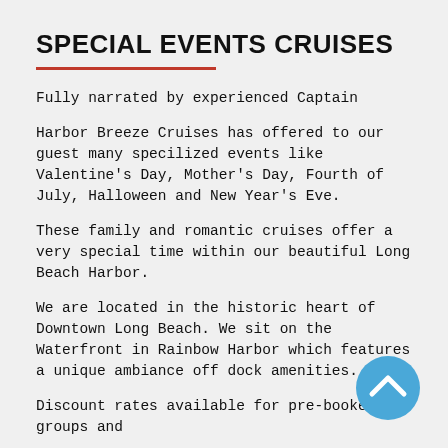SPECIAL EVENTS CRUISES
Fully narrated by experienced Captain
Harbor Breeze Cruises has offered to our guest many specilized events like Valentine's Day, Mother's Day, Fourth of July, Halloween and New Year's Eve.
These family and romantic cruises offer a very special time within our beautiful Long Beach Harbor.
We are located in the historic heart of Downtown Long Beach. We sit on the Waterfront in Rainbow Harbor which features a unique ambiance off dock amenities.
Discount rates available for pre-booked groups and
[Figure (illustration): Blue circular scroll-up button with white chevron arrow pointing upward, positioned at bottom right]